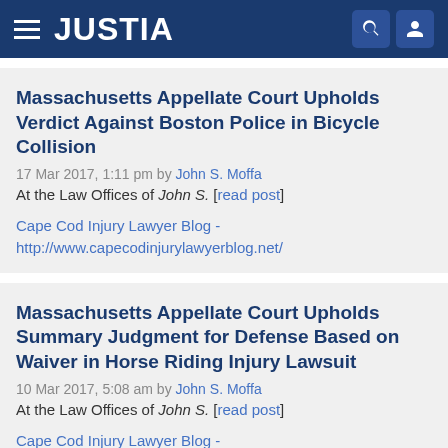JUSTIA
Massachusetts Appellate Court Upholds Verdict Against Boston Police in Bicycle Collision
17 Mar 2017, 1:11 pm by John S. Moffa
At the Law Offices of John S. [read post]
Cape Cod Injury Lawyer Blog - http://www.capecodinjurylawyerblog.net/
Massachusetts Appellate Court Upholds Summary Judgment for Defense Based on Waiver in Horse Riding Injury Lawsuit
10 Mar 2017, 5:08 am by John S. Moffa
At the Law Offices of John S. [read post]
Cape Cod Injury Lawyer Blog -